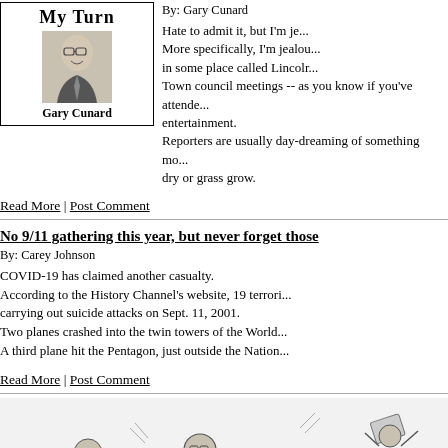[Figure (photo): My Turn column header box with photo of Gary Cunard, a man in glasses and tie, smiling]
By: Gary Cunard
Hate to admit it, but I'm je... More specifically, I'm jealou... in some place called Lincolr... Town council meetings -- as you know if you've attende... entertainment.
Reporters are usually day-dreaming of something mo... dry or grass grow.
Read More | Post Comment
No 9/11 gathering this year, but never forget those
By: Carey Johnson
COVID-19 has claimed another casualty.
According to the History Channel's website, 19 terrori... carrying out suicide attacks on Sept. 11, 2001.
Two planes crashed into the twin towers of the World...
A third plane hit the Pentagon, just outside the Nation...
Read More | Post Comment
[Figure (illustration): Editorial cartoon showing animated figures in a chaotic scene, rendered in black and white line art]